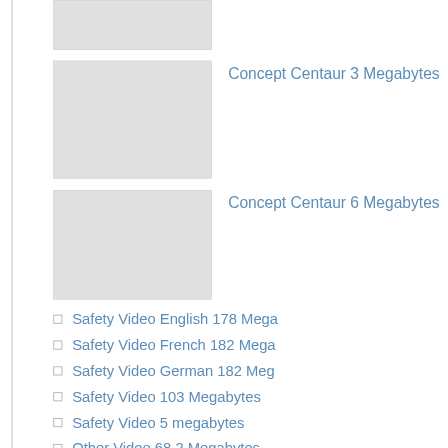[Figure (other): Gray placeholder image box (partially visible at top)]
Concept Centaur 3 Megabytes
[Figure (other): Gray placeholder image box for Concept Centaur 3 Megabytes]
Concept Centaur 6 Megabytes
[Figure (other): Gray placeholder image box for Concept Centaur 6 Megabytes]
Safety Video English 178 Mega
Safety Video French 182 Mega
Safety Video German 182 Meg
Safety Video 103 Megabytes
Safety Video 5 megabytes
Other Video 68.2 Megabytes